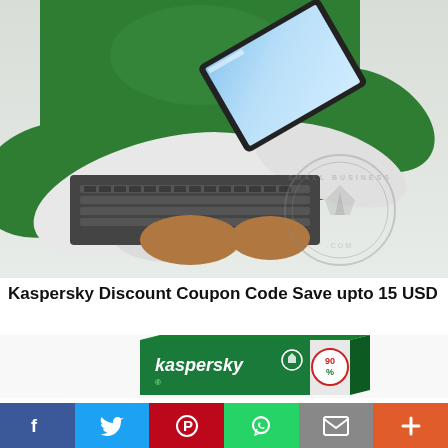[Figure (photo): Person wearing green shirt and white gloves holding a laptop/tablet computer, with a circular 'Small Business' watermark logo on the right side. Photo has light grey/white background.]
Kaspersky Discount Coupon Code Save upto 15 USD
[Figure (photo): Kaspersky antivirus software product box, green and white packaging with Kaspersky logo and a percentage sign visible.]
[Figure (infographic): Social media share bar with six buttons: Facebook (blue), Twitter (light blue), Pinterest (red), WhatsApp (green), Email (grey), and More/Plus (orange-red).]